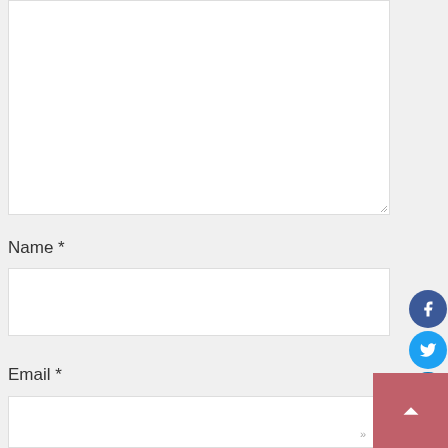[Figure (screenshot): Web form with a large comment textarea (partially visible), Name field with label, Email field with label, and a social media sharing sidebar on the right with Facebook, Twitter, LinkedIn, Pinterest, Reddit, WhatsApp, and Email buttons, plus a scroll-to-top button.]